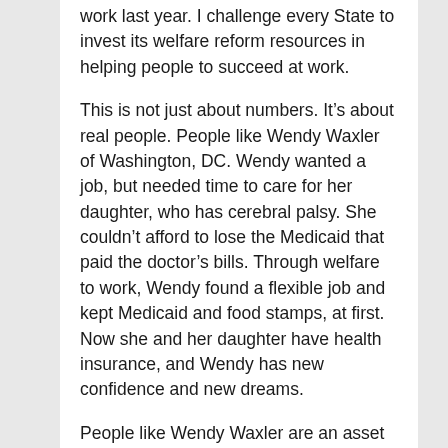work last year. I challenge every State to invest its welfare reform resources in helping people to succeed at work.
This is not just about numbers. It’s about real people. People like Wendy Waxler of Washington, DC. Wendy wanted a job, but needed time to care for her daughter, who has cerebral palsy. She couldn’t afford to lose the Medicaid that paid the doctor’s bills. Through welfare to work, Wendy found a flexible job and kept Medicaid and food stamps, at first. Now she and her daughter have health insurance, and Wendy has new confidence and new dreams.
People like Wendy Waxler are an asset our economy simply cannot afford to waste. So we must do more to support